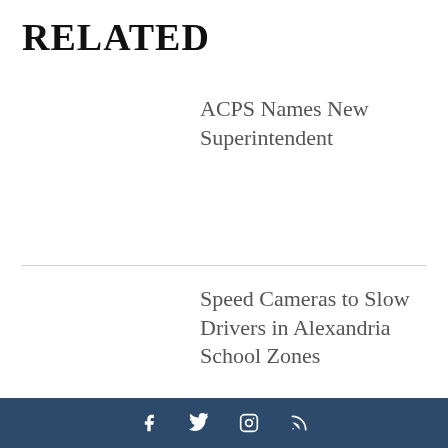RELATED
ACPS Names New Superintendent
Speed Cameras to Slow Drivers in Alexandria School Zones
Social media icons: Facebook, Twitter, Instagram, RSS